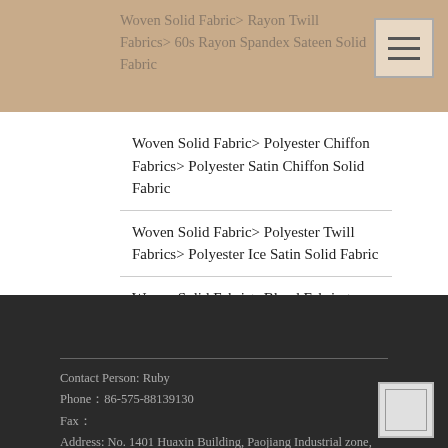Woven Solid Fabric> Rayon Twill Fabrics> 60s Rayon Spandex Sateen Solid Fabric
Woven Solid Fabric> Polyester Chiffon Fabrics> Polyester Satin Chiffon Solid Fabric
Woven Solid Fabric> Polyester Twill Fabrics> Polyester Ice Satin Solid Fabric
Woven Solid Fabric> Blend Fabrics> 10s Linen Rayon Solid Fabric
Contact Person: Ruby
Phone：86-575-88139130
Fax：
Address: No. 1401 Huaxin Building, Paojiang Industrial zone, shaoxing city, china,Shaoxing,Zhejiang